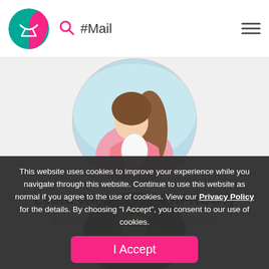#Mail
[Figure (photo): Circular profile avatar showing an illustrated girl with long brown hair and a pink outfit against a light blue background]
Leora Winter {PAPERFROST}
a diary webcomic called "Sunny Place"
This website uses cookies to improve your experience while you navigate through this website. Continue to use this website as normal if you agree to the use of cookies. View our Privacy Policy for the details. By choosing "I Accept", you consent to our use of cookies.
[Figure (photo): Partially visible circular avatar in background behind cookie consent overlay]